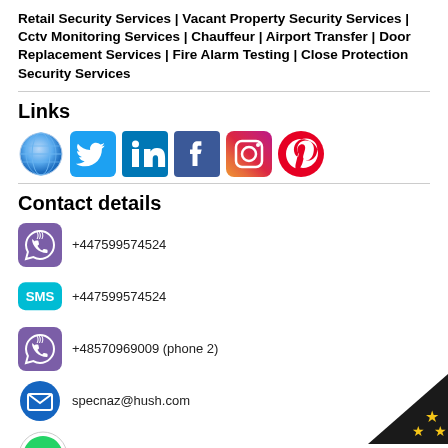Retail Security Services | Vacant Property Security Services | Cctv Monitoring Services | Chauffeur | Airport Transfer | Door Replacement Services | Fire Alarm Testing | Close Protection Security Services
Links
[Figure (infographic): Row of social media icons: Globe/website, Twitter, LinkedIn, Facebook, Instagram, Pinterest]
Contact details
+447599574524 (Viber)
+447599574524 (SMS)
+48570969009 (phone 2)
specnaz@hush.com
WhatsApp +447599574524